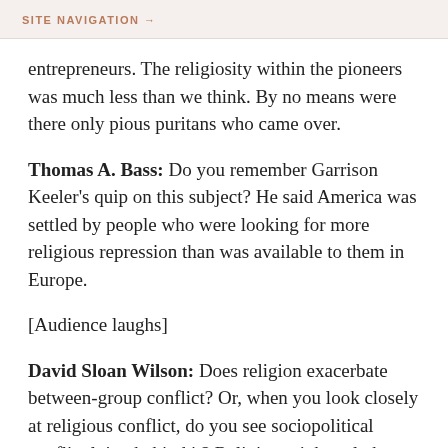SITE NAVIGATION →
entrepreneurs. The religiosity within the pioneers was much less than we think. By no means were there only pious puritans who came over.
Thomas A. Bass: Do you remember Garrison Keeler's quip on this subject? He said America was settled by people who were looking for more religious repression than was available to them in Europe.
[Audience laughs]
David Sloan Wilson: Does religion exacerbate between-group conflict? Or, when you look closely at religious conflict, do you see sociopolitical conflict lying behind it? Religion might only be framing the debate. To